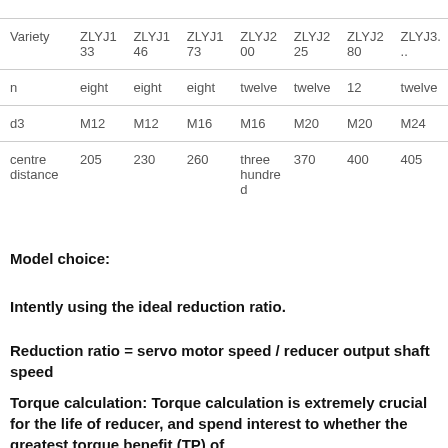| Variety | ZLYJ133 | ZLYJ146 | ZLYJ173 | ZLYJ200 | ZLYJ225 | ZLYJ280 | ZLYJ3... |
| --- | --- | --- | --- | --- | --- | --- | --- |
| n | eight | eight | eight | twelve | twelve | 12 | twelve |
| d3 | M12 | M12 | M16 | M16 | M20 | M20 | M24 |
| centre distance | 205 | 230 | 260 | three hundred | 370 | 400 | 405 |
Model choice:
Intently using the ideal reduction ratio.
Reduction ratio = servo motor speed / reducer output shaft speed
Torque calculation: Torque calculation is extremely crucial for the life of reducer, and spend interest to whether the greatest torque benefit (TP) of